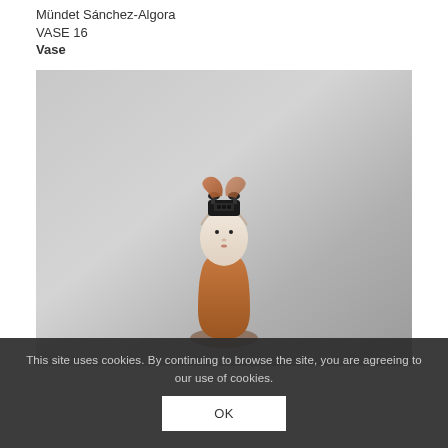Mündet Sánchez-Algora
VASE 16
Vase
[Figure (photo): A ceramic vase shaped like a human figure with a white face and brown body, with a small black vintage telephone balanced on top of the head, photographed against a gray background.]
This site uses cookies. By continuing to browse the site, you are agreeing to our use of cookies.
OK